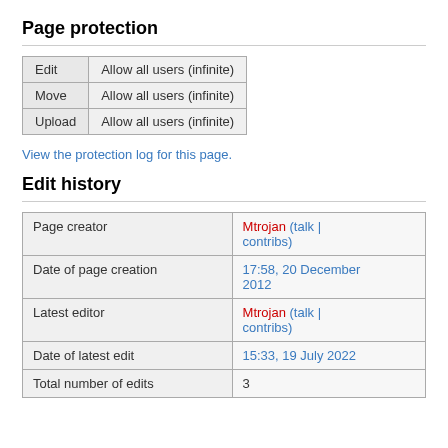Page protection
| Edit | Allow all users (infinite) |
| Move | Allow all users (infinite) |
| Upload | Allow all users (infinite) |
View the protection log for this page.
Edit history
| Page creator | Mtrojan (talk | contribs) |
| Date of page creation | 17:58, 20 December 2012 |
| Latest editor | Mtrojan (talk | contribs) |
| Date of latest edit | 15:33, 19 July 2022 |
| Total number of edits | 3 |